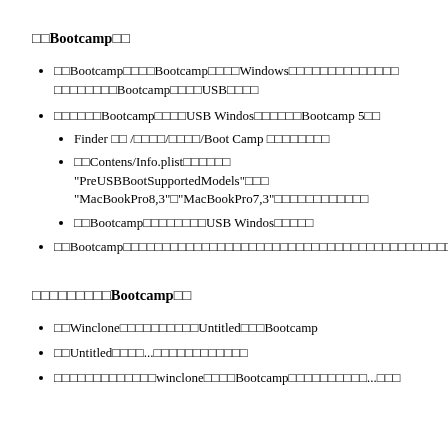□□Bootcamp□□
□□Bootcamp□□□□Bootcamp□□□□Windows□□□□□□□□□□□□□□□□□□□□□□□□Bootcamp□□□□USB□□□□
□□□□□□Bootcamp□□□□USB Windos□□□□□□Bootcamp 5□□
Finder □□ /□□□□/□□□□/Boot Camp □□□□□□□□
□□Contens/Info.plist□□□□□□ "PreUSBBootSupportedModels"□□□ "MacBookPro8,3"□"MacBookPro7,3"□□□□□□□□□□□□
□□Bootcamp□□□□□□□□USB Windos□□□□□
□□Bootcamp□□□□□□□□□□□□□□□□□□□□□□□□□□□□□□□□□□□□□□□□□□□
□□□□□□□□□Bootcamp□□
□□Winclone□□□□□□□□□□Untitled□□□Bootcamp
□□Untitled□□□□...□□□□□□□□□□□□
□□□□□□□□□□□□□winclone□□□□Bootcamp□□□□□□□□□□...□□□